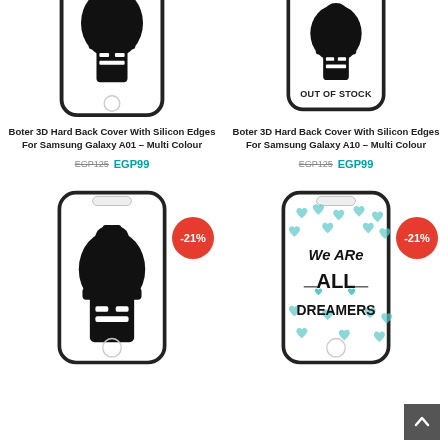[Figure (photo): Phone case with spartan helmet design for Samsung Galaxy A01]
[Figure (photo): Phone case with spartan helmet design for Samsung Galaxy A10, labeled Out of Stock]
Boter 3D Hard Back Cover With Silicon Edges For Samsung Galaxy A01 – Multi Colour
EGP125 EGP99
Boter 3D Hard Back Cover With Silicon Edges For Samsung Galaxy A10 – Multi Colour
EGP125 EGP99
[Figure (photo): Phone case with spartan helmet design, discount badge -21%]
[Figure (photo): Phone case with We Are All Dreamers text and teal hearts pattern, discount badge -21%]